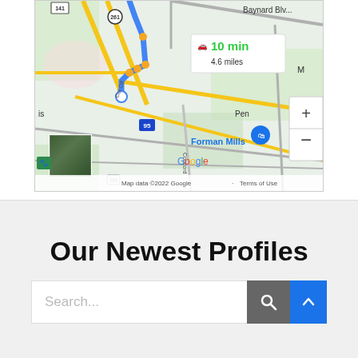[Figure (map): Google Maps screenshot showing a driving route. Info box shows '10 min, 4.6 miles'. Map includes roads, highway 95, Forman Mills location marker, zoom controls (+/-), satellite thumbnail, and map footer with 'Map data ©2022 Google Terms of Use'.]
Our Newest Profiles
Search...